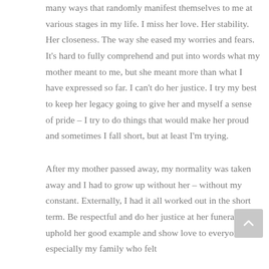many ways that randomly manifest themselves to me at various stages in my life. I miss her love. Her stability. Her closeness. The way she eased my worries and fears. It's hard to fully comprehend and put into words what my mother meant to me, but she meant more than what I have expressed so far. I can't do her justice. I try my best to keep her legacy going to give her and myself a sense of pride – I try to do things that would make her proud and sometimes I fall short, but at least I'm trying.
After my mother passed away, my normality was taken away and I had to grow up without her – without my constant. Externally, I had it all worked out in the short term. Be respectful and do her justice at her funeral and uphold her good example and show love to everyone, especially my family who felt